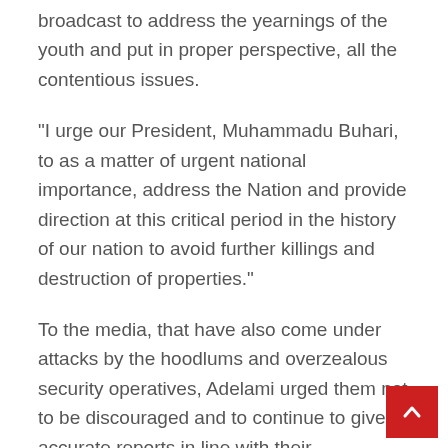broadcast to address the yearnings of the youth and put in proper perspective, all the contentious issues.
“I urge our President, Muhammadu Buhari, to as a matter of urgent national importance, address the Nation and provide direction at this critical period in the history of our nation to avoid further killings and destruction of properties.”
To the media, that have also come under attacks by the hoodlums and overzealous security operatives, Adelami urged them not to be discouraged and to continue to give accurate reports in line with their professional ethics to help douse the tension orchestrated by merchants of fake news and misinformation.